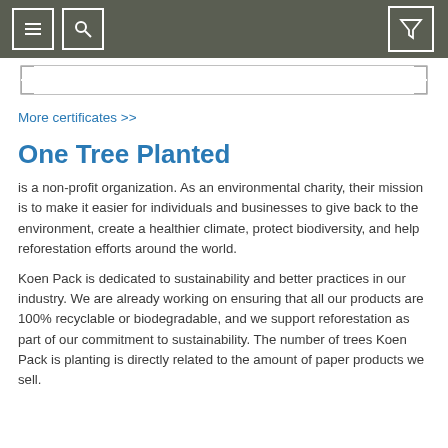Navigation toolbar with menu, search, and filter icons
[Figure (screenshot): Search bar with decorative corner brackets]
More certificates >>
One Tree Planted
is a non-profit organization. As an environmental charity, their mission is to make it easier for individuals and businesses to give back to the environment, create a healthier climate, protect biodiversity, and help reforestation efforts around the world.
Koen Pack is dedicated to sustainability and better practices in our industry. We are already working on ensuring that all our products are 100% recyclable or biodegradable, and we support reforestation as part of our commitment to sustainability. The number of trees Koen Pack is planting is directly related to the amount of paper products we sell.